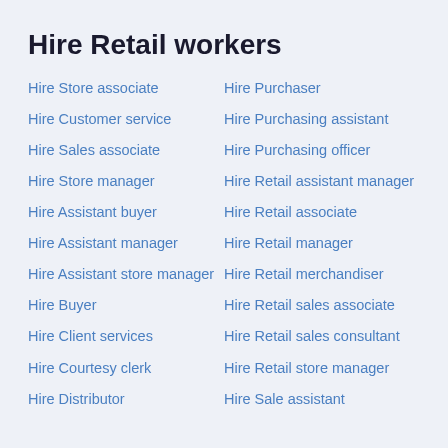Hire Retail workers
Hire Store associate
Hire Customer service
Hire Sales associate
Hire Store manager
Hire Assistant buyer
Hire Assistant manager
Hire Assistant store manager
Hire Buyer
Hire Client services
Hire Courtesy clerk
Hire Distributor
Hire Purchaser
Hire Purchasing assistant
Hire Purchasing officer
Hire Retail assistant manager
Hire Retail associate
Hire Retail manager
Hire Retail merchandiser
Hire Retail sales associate
Hire Retail sales consultant
Hire Retail store manager
Hire Sale assistant